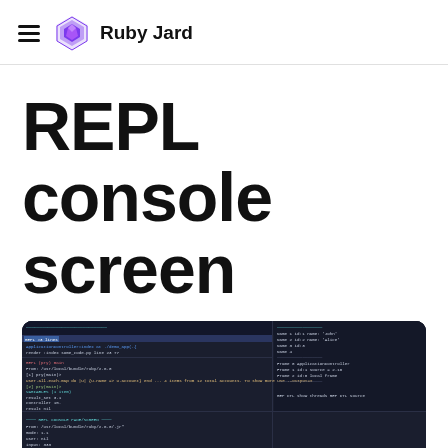Ruby Jard
REPL console screen
[Figure (screenshot): Terminal/REPL console screenshot showing Ruby Jard debugger interface with dark background, colored syntax highlighting, multiple panes including source code and variable inspector]